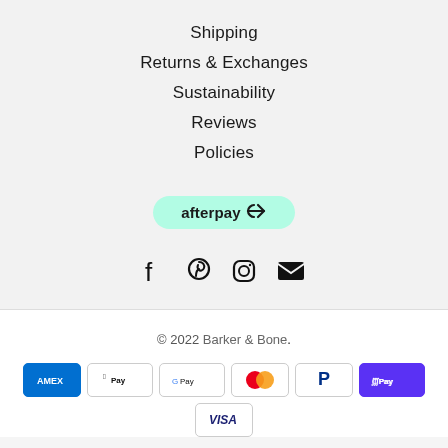Shipping
Returns & Exchanges
Sustainability
Reviews
Policies
[Figure (logo): Afterpay logo button with mint/green background]
[Figure (infographic): Social media icons: Facebook, Pinterest, Instagram, Email]
© 2022 Barker & Bone.
[Figure (infographic): Payment method icons: American Express, Apple Pay, Google Pay, Mastercard, PayPal, Shop Pay, Visa]